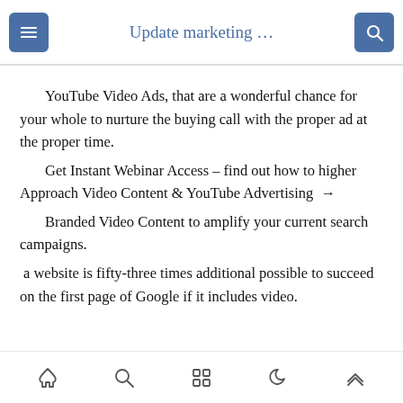Update marketing …
YouTube Video Ads, that are a wonderful chance for your whole to nurture the buying call with the proper ad at the proper time.
Get Instant Webinar Access – find out how to higher Approach Video Content & YouTube Advertising →
Branded Video Content to amplify your current search campaigns.
a website is fifty-three times additional possible to succeed on the first page of Google if it includes video.
[home] [search] [grid] [moon] [up]